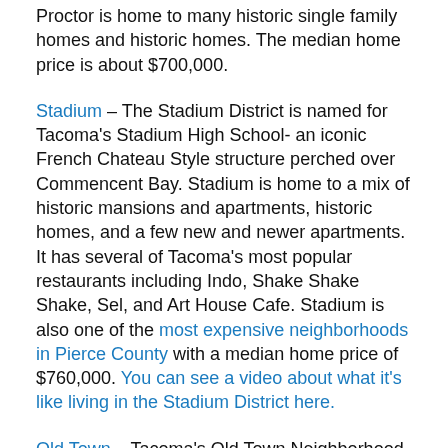Proctor is home to many historic single family homes and historic homes. The median home price is about $700,000.
Stadium – The Stadium District is named for Tacoma's Stadium High School- an iconic French Chateau Style structure perched over Commencent Bay. Stadium is home to a mix of historic mansions and apartments, historic homes, and a few new and newer apartments. It has several of Tacoma's most popular restaurants including Indo, Shake Shake Shake, Sel, and Art House Cafe. Stadium is also one of the most expensive neighborhoods in Pierce County with a median home price of $760,000. You can see a video about what it's like living in the Stadium District here.
Old Town – Tacoma's Old Town Neighborhood is home to a charming street of shops on North 30th. That includes bars, restaurants, coffee shops, and other businesses. Homes in Old Town are a mix of historic homes and newer construction. Many have incredible views of Commencement Bay. Old Town is very close to the Ruston